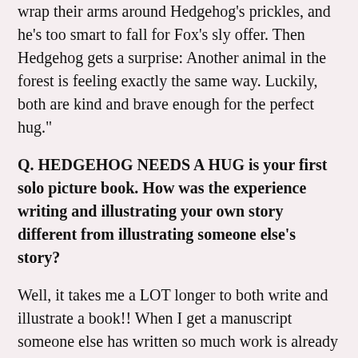wrap their arms around Hedgehog's prickles, and he's too smart to fall for Fox's sly offer. Then Hedgehog gets a surprise: Another animal in the forest is feeling exactly the same way. Luckily, both are kind and brave enough for the perfect hug."
Q. HEDGEHOG NEEDS A HUG is your first solo picture book. How was the experience writing and illustrating your own story different from illustrating someone else's story?
Well, it takes me a LOT longer to both write and illustrate a book!! When I get a manuscript someone else has written so much work is already done – the story structure is all there, and the images start to flow in my head like a film. I still have to figure out the pacing, page breaks, composition, etc but because the story is